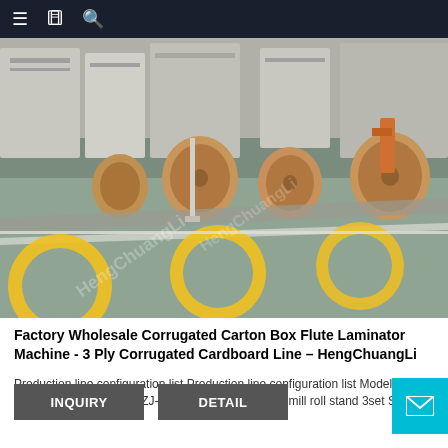≡ 📋 🔍
[Figure (photo): Factory floor showing corrugated cardboard production line with large paper rolls and yellow circle floor markings on a grey-green painted floor. Watermark text 'HengChuangli' overlaid diagonally.]
Factory Wholesale Corrugated Carton Box Flute Laminator Machine - 3 Ply Corrugated Cardboard Line – HengChuangLi
Production line configuration list Production line configuration list Models Name QTY Unit price Remark ZJ-V5B Hydraulic shaftless mill roll stand 3set Spindle ¢